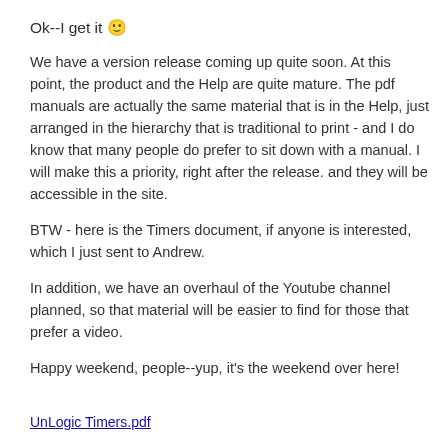Ok--I get it 🙂
We have a version release coming up quite soon. At this point, the product and the Help are quite mature. The pdf manuals are actually the same material that is in the Help, just arranged in the hierarchy that is traditional to print - and I do know that many people do prefer to sit down with a manual. I will make this a priority, right after the release. and they will be accessible in the site.
BTW - here is the Timers document, if anyone is interested, which I just sent to Andrew.
In addition, we have an overhaul of the Youtube channel planned, so that material will be easier to find for those that prefer a video.
Happy weekend, people--yup, it's the weekend over here!
UnLogic Timers.pdf